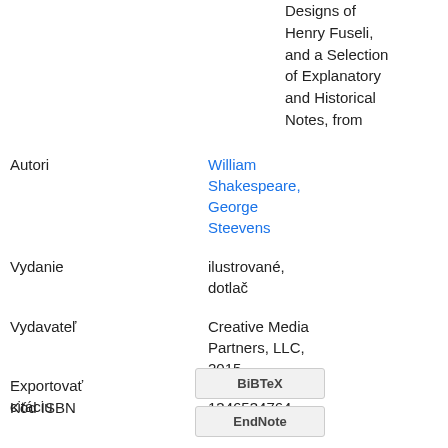Designs of Henry Fuseli, and a Selection of Explanatory and Historical Notes, from
| Autori | William Shakespeare, George Steevens |
| Vydanie | ilustrované, dotlač |
| Vydavateľ | Creative Media Partners, LLC, 2015 |
| Kód ISBN | 1346534764, 9781346534763 |
| Dĺžka | 504 strán (strany) |
Exportovať citáciu
BiBTeX
EndNote